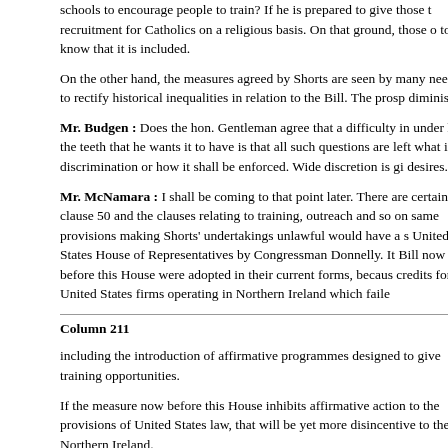schools to encourage people to train? If he is prepared to give those t recruitment for Catholics on a religious basis. On that ground, those o to know that it is included.
On the other hand, the measures agreed by Shorts are seen by many needed to rectify historical inequalities in relation to the Bill. The prosp diminished.
Mr. Budgen : Does the hon. Gentleman agree that a difficulty in under has the teeth that he wants it to have is that all such questions are left what is discrimination or how it shall be enforced. Wide discretion is gi desires.
Mr. McNamara : I shall be coming to that point later. There are certain and clause 50 and the clauses relating to training, outreach and so on same provisions making Shorts' undertakings unlawful would have a s United States House of Representatives by Congressman Donnelly. It Bill now before this House were adopted in their current forms, becaus credits for United States firms operating in Northern Ireland which faile
Column 211
including the introduction of affirmative programmes designed to give training opportunities.
If the measure now before this House inhibits affirmative action to the provisions of United States law, that will be yet more disincentive to the Northern Ireland.
But, not content with turning the clock back with regard to affirmative a redress. It reduces the existing rights of those discriminated against o